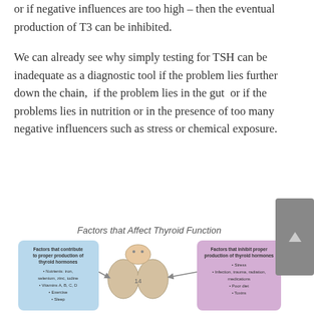or if negative influences are too high – then the eventual production of T3 can be inhibited.
We can already see why simply testing for TSH can be inadequate as a diagnostic tool if the problem lies further down the chain,  if the problem lies in the gut  or if the problems lies in nutrition or in the presence of too many negative influencers such as stress or chemical exposure.
[Figure (infographic): Infographic titled 'Factors that Affect Thyroid Function' showing a thyroid anatomy illustration in the center, with a blue box on the left listing factors that contribute to proper production of thyroid hormones (nutrients: iron, etc.) and a purple box on the right listing factors that inhibit proper production of thyroid hormones (stress, infection, trauma, radiation, medications).]